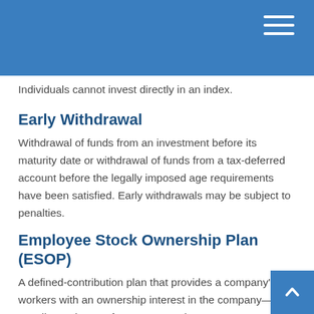Individuals cannot invest directly in an index.
Early Withdrawal
Withdrawal of funds from an investment before its maturity date or withdrawal of funds from a tax-deferred account before the legally imposed age requirements have been satisfied. Early withdrawals may be subject to penalties.
Employee Stock Ownership Plan (ESOP)
A defined-contribution plan that provides a company's workers with an ownership interest in the company—usually as shares of company stock.
Employer-Sponsored Retirement Plan